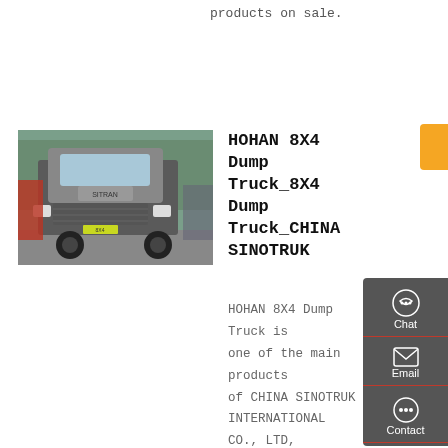products on sale.
Get a Quote
[Figure (photo): HOHAN 8X4 dump trucks parked in a lot with trees in the background]
HOHAN 8X4 Dump Truck_8X4 Dump Truck_CHINA SINOTRUK
HOHAN 8X4 Dump Truck is one of the main products of CHINA SINOTRUK INTERNATIONAL CO., LTD, with good price and quality, factory direct sales and factory